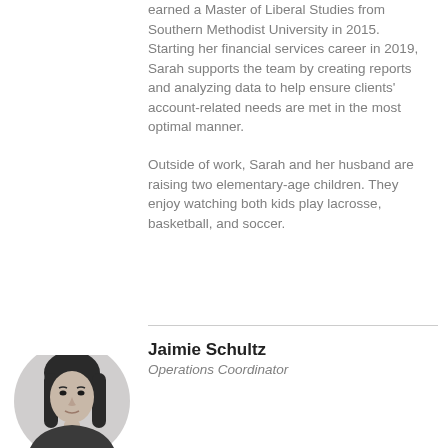earned a Master of Liberal Studies from Southern Methodist University in 2015.  Starting her financial services career in 2019, Sarah supports the team by creating reports and analyzing data to help ensure clients' account-related needs are met in the most optimal manner.

Outside of work, Sarah and her husband are raising two elementary-age children.  They enjoy watching both kids play lacrosse, basketball, and soccer.
Jaimie Schultz
Operations Coordinator
[Figure (photo): Black and white headshot photo of Jaimie Schultz, a woman with dark long hair]